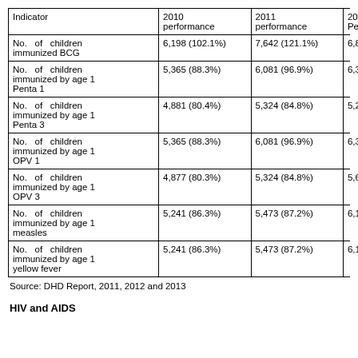| Indicator | 2010 performance | 2011 performance | 20... Pe... |
| --- | --- | --- | --- |
| No. of children immunized BCG | 6,198 (102.1%) | 7,642 (121.1%) | 6,8... |
| No. of children immunized by age 1 Penta 1 | 5,365 (88.3%) | 6,081 (96.9%) | 6,3... |
| No. of children immunized by age 1 Penta 3 | 4,881 (80.4%) | 5,324 (84.8%) | 5,2... |
| No. of children immunized by age 1 OPV 1 | 5,365 (88.3%) | 6,081 (96.9%) | 6,3... |
| No. of children immunized by age 1 OPV 3 | 4,877 (80.3%) | 5,324 (84.8%) | 5,6... |
| No. of children immunized by age 1 measles | 5,241 (86.3%) | 5,473 (87.2%) | 6,1... |
| No. of children immunized by age 1 yellow fever | 5,241 (86.3%) | 5,473 (87.2%) | 6,1... |
Source: DHD Report, 2011, 2012 and 2013
HIV and AIDS